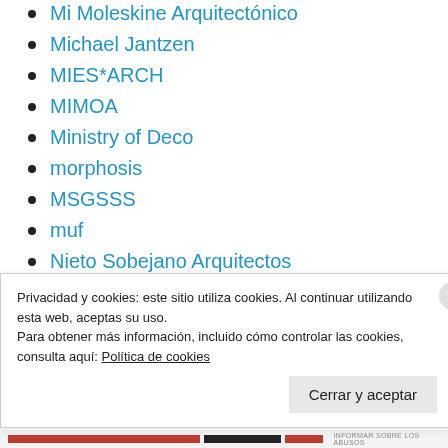Mi Moleskine Arquitectónico
Michael Jantzen
MIES*ARCH
MIMOA
Ministry of Deco
morphosis
MSGSSS
muf
Nieto Sobejano Arquitectos
NMDA
noticias arquitectura
Privacidad y cookies: este sitio utiliza cookies. Al continuar utilizando esta web, aceptas su uso.
Para obtener más información, incluido cómo controlar las cookies, consulta aquí: Política de cookies
Cerrar y aceptar